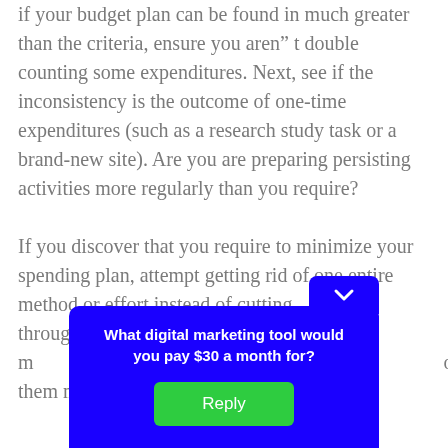if your budget plan can be found in much greater than the criteria, ensure you aren't double counting some expenditures. Next, see if the inconsistency is the outcome of one-time expenditures (such as a research study task or a brand-new site). Are you are preparing persisting activities more regularly than you require?

If you discover that you require to minimize your spending plan, attempt getting rid of one entire method or effort instead of cutting through all the activities ... it is more more ... to them m...
[Figure (other): A popup dialog overlay with blue background, asking 'What digital marketing tool would you pay $30 a month for?' with a green Reply button.]